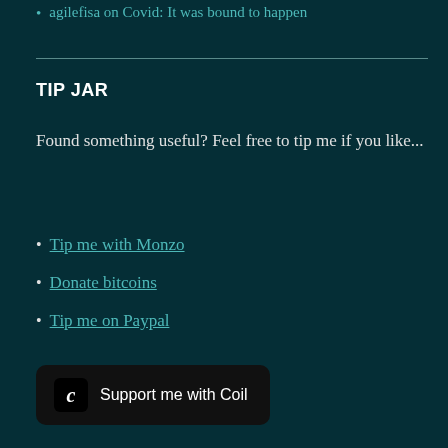agilefisa on Covid: It was bound to happen
TIP JAR
Found something useful? Feel free to tip me if you like...
Tip me with Monzo
Donate bitcoins
Tip me on Paypal
[Figure (other): Support me with Coil button — dark rounded rectangle with Coil logo icon and text 'Support me with Coil']